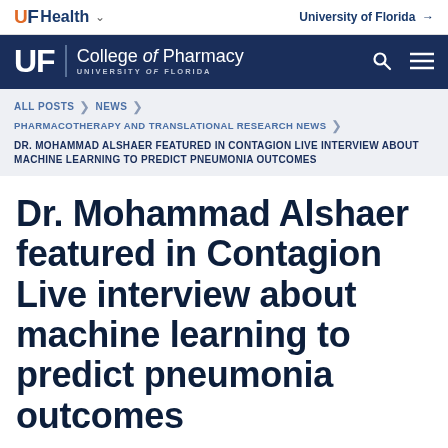UF Health | University of Florida
[Figure (logo): UF College of Pharmacy, University of Florida logo on dark navy background with search and menu icons]
ALL POSTS > NEWS > PHARMACOTHERAPY AND TRANSLATIONAL RESEARCH NEWS
DR. MOHAMMAD ALSHAER FEATURED IN CONTAGION LIVE INTERVIEW ABOUT MACHINE LEARNING TO PREDICT PNEUMONIA OUTCOMES
Dr. Mohammad Alshaer featured in Contagion Live interview about machine learning to predict pneumonia outcomes